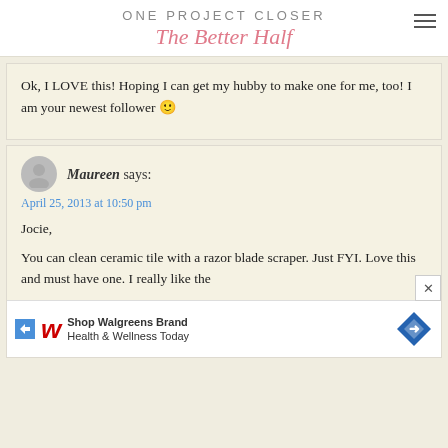ONE PROJECT CLOSER | The Better Half
Ok, I LOVE this! Hoping I can get my hubby to make one for me, too! I am your newest follower 🙂
Maureen says: April 25, 2013 at 10:50 pm

Jocie,

You can clean ceramic tile with a razor blade scraper. Just FYI. Love this and must have one. I really like the precis...y ninetic...ozzle.
[Figure (other): Walgreens advertisement: Shop Walgreens Brand Health & Wellness Today]